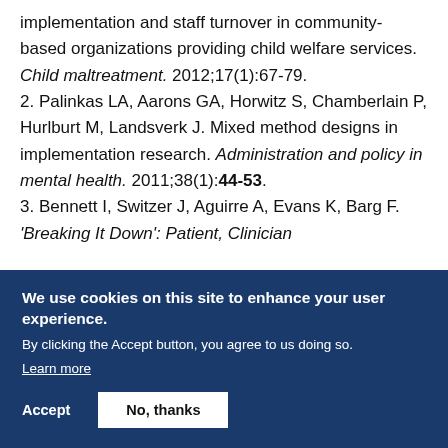implementation and staff turnover in community-based organizations providing child welfare services. Child maltreatment. 2012;17(1):67-79.
2. Palinkas LA, Aarons GA, Horwitz S, Chamberlain P, Hurlburt M, Landsverk J. Mixed method designs in implementation research. Administration and policy in mental health. 2011;38(1):44-53.
3. Bennett I, Switzer J, Aguirre A, Evans K, Barg F. 'Breaking It Down': Patient, Clinician...
We use cookies on this site to enhance your user experience.
By clicking the Accept button, you agree to us doing so.
Learn more
Accept
No, thanks